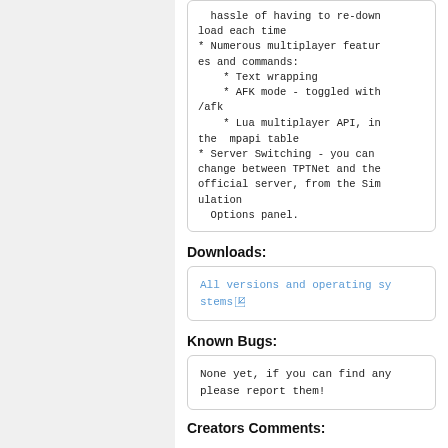hassle of having to re-download each time
* Numerous multiplayer features and commands:
    * Text wrapping
    * AFK mode - toggled with /afk
    * Lua multiplayer API, in the  mpapi table
* Server Switching - you can change between TPTNet and the official server, from the Simulation
  Options panel.
Downloads:
All versions and operating systems
Known Bugs:
None yet, if you can find any please report them!
Creators Comments: